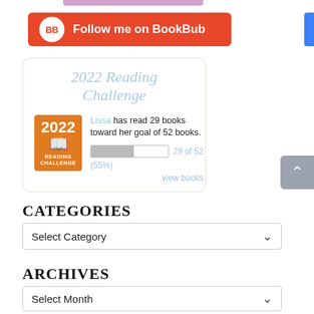[Figure (other): BookBub follow button — red rounded rectangle with white BB circle logo on left and 'Follow me on BookBub' text in white]
[Figure (other): 2022 Reading Challenge widget: shows badge with '2022 READING CHALLENGE', text 'Lissa has read 29 books toward her goal of 52 books.', progress bar at 55%, label '29 of 52 (55%)', link 'view books']
CATEGORIES
Select Category
ARCHIVES
Select Month